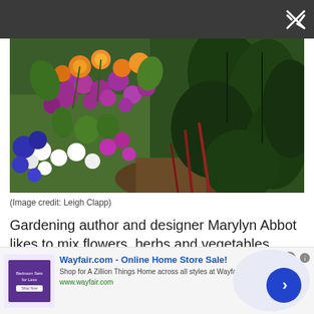[Figure (photo): A garden photograph showing colorful flowers including orange, purple, and white blooms mixed with large dark green leafy vegetables. The garden features marigolds, salvias, violas and other flowering plants alongside what appears to be chard or spinach.]
(Image credit: Leigh Clapp)
Gardening author and designer Marylyn Abbot likes to mix flowers, herbs and vegetables together in long lines at her West Green House gardens.
[Figure (screenshot): Advertisement for Wayfair.com - Online Home Store Sale! Shows a small thumbnail of bedroom furniture, the Wayfair logo and tagline 'Shop for A Zillion Things Home across all styles at Wayfair!' with URL www.wayfair.com and a blue arrow button.]